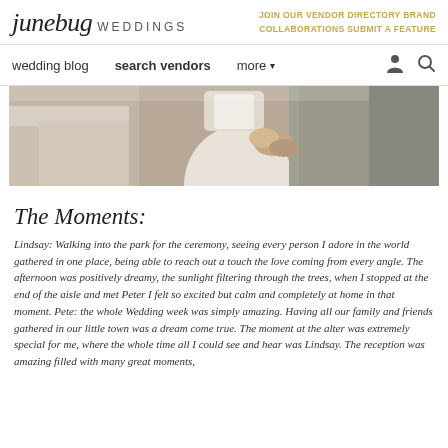junebug WEDDINGS | JOIN OUR VENDOR DIRECTORY BRAND COLLABORATIONS SUBMIT A FEATURE
wedding blog   search vendors   more
[Figure (photo): Cropped wedding photo showing a couple dancing or embracing, bride in white dress with embellished details, groom in gray suit, warm indoor reception lighting with draped tables in background]
The Moments:
Lindsay: Walking into the park for the ceremony, seeing every person I adore in the world gathered in one place, being able to reach out a touch the love coming from every angle. The afternoon was positively dreamy, the sunlight filtering through the trees, when I stopped at the end of the aisle and met Peter I felt so excited but calm and completely at home in that moment. Pete: the whole Wedding week was simply amazing. Having all our family and friends gathered in our little town was a dream come true. The moment at the alter was extremely special for me, where the whole time all I could see and hear was Lindsay. The reception was amazing filled with many great moments,